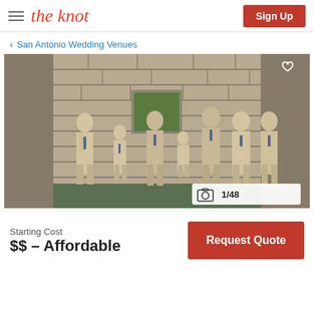the knot | Sign Up
< San Antonio Wedding Venues
[Figure (photo): Group of men and boys in beige/tan suits with blue ties posed against a stone wall outdoors. Camera icon overlay with '1/48' badge in lower right corner, heart icon in upper right corner.]
Starting Cost
$$ – Affordable
Request Quote